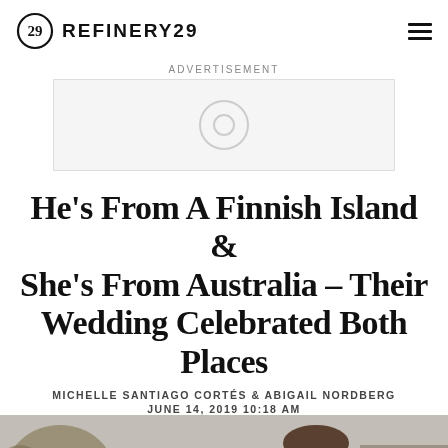REFINERY29
ADVERTISEMENT
[Figure (other): Advertisement placeholder box with a faint circle icon in the center]
He's From A Finnish Island & She's From Australia – Their Wedding Celebrated Both Places
MICHELLE SANTIAGO CORTÉS & ABIGAIL NORDBERG
JUNE 14, 2019 10:18 AM
[Figure (photo): A couple outdoors, the man with short brown hair smiling, the woman with dark hair partially visible, with trees and a building in the background]